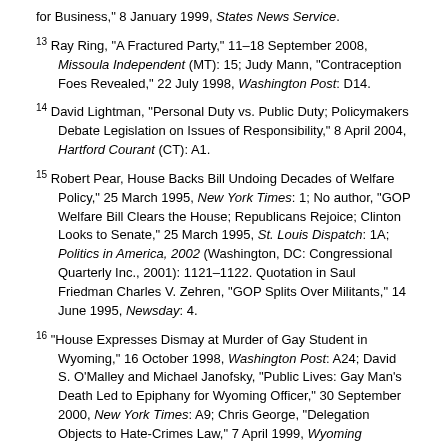for Business," 8 January 1999, States News Service.
13 Ray Ring, "A Fractured Party," 11–18 September 2008, Missoula Independent (MT): 15; Judy Mann, "Contraception Foes Revealed," 22 July 1998, Washington Post: D14.
14 David Lightman, "Personal Duty vs. Public Duty; Policymakers Debate Legislation on Issues of Responsibility," 8 April 2004, Hartford Courant (CT): A1.
15 Robert Pear, House Backs Bill Undoing Decades of Welfare Policy," 25 March 1995, New York Times: 1; No author, "GOP Welfare Bill Clears the House; Republicans Rejoice; Clinton Looks to Senate," 25 March 1995, St. Louis Dispatch: 1A; Politics in America, 2002 (Washington, DC: Congressional Quarterly Inc., 2001): 1121–1122. Quotation in Saul Friedman Charles V. Zehren, "GOP Splits Over Militants," 14 June 1995, Newsday: 4.
16 "House Expresses Dismay at Murder of Gay Student in Wyoming," 16 October 1998, Washington Post: A24; David S. O'Malley and Michael Janofsky, "Public Lives: Gay Man's Death Led to Epiphany for Wyoming Officer," 30 September 2000, New York Times: A9; Chris George, "Delegation Objects to Hate-Crimes Law," 7 April 1999, Wyoming Tribune-Eagle: A7; Charles Davant, "Shepard's Mother Pleads for New Laws," 24 March 1999, Wyoming Tribune-Eagle: A14.